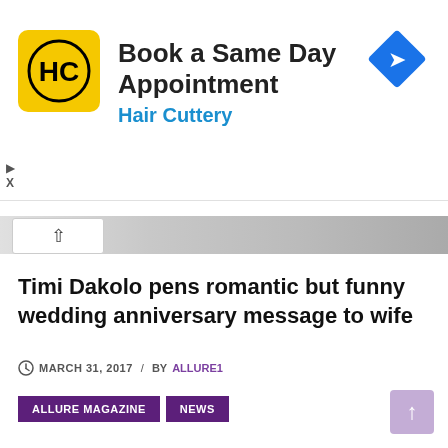[Figure (advertisement): Hair Cuttery ad banner: yellow logo with HC initials, text 'Book a Same Day Appointment' and 'Hair Cuttery', blue navigation diamond icon on right]
Timi Dakolo pens romantic but funny wedding anniversary message to wife
MARCH 31, 2017 / BY ALLURE1
ALLURE MAGAZINE
NEWS